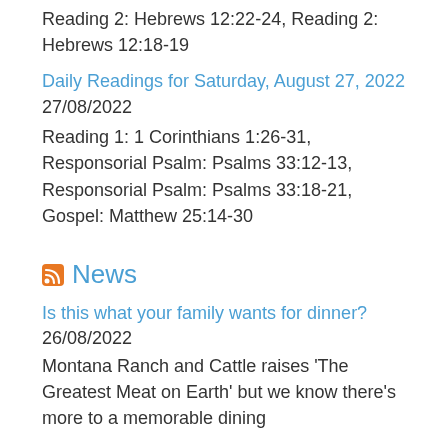Reading 2: Hebrews 12:22-24, Reading 2: Hebrews 12:18-19
Daily Readings for Saturday, August 27, 2022 27/08/2022
Reading 1: 1 Corinthians 1:26-31, Responsorial Psalm: Psalms 33:12-13, Responsorial Psalm: Psalms 33:18-21, Gospel: Matthew 25:14-30
News
Is this what your family wants for dinner? 26/08/2022
Montana Ranch and Cattle raises 'The Greatest Meat on Earth' but we know there's more to a memorable dining